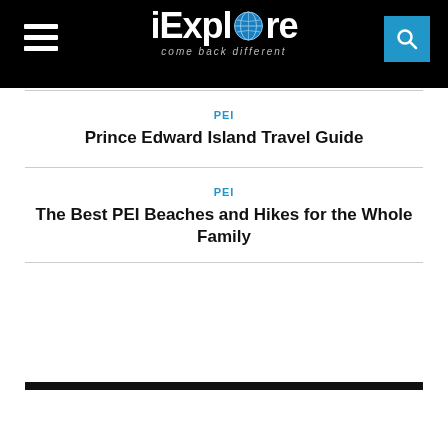iExplore — come back different
PEI
3 Ways to Enjoy PEI's Confederation Trail (Beyond Just Walking It)
PEI
Prince Edward Island Travel Guide
PEI
The Best PEI Beaches and Hikes for the Whole Family